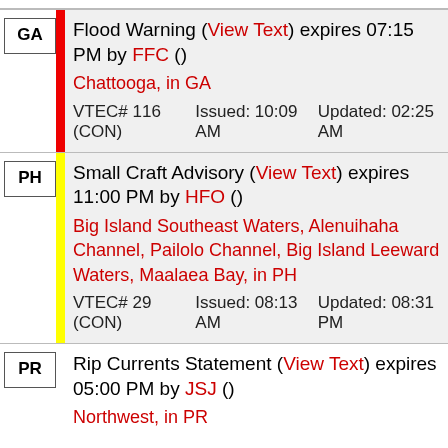| State | Alert | Areas | VTEC# | Issued | Updated |
| --- | --- | --- | --- | --- | --- |
| GA | Flood Warning (View Text) expires 07:15 PM by FFC () | Chattooga, in GA | VTEC# 116 (CON) | Issued: 10:09 AM | Updated: 02:25 AM |
| PH | Small Craft Advisory (View Text) expires 11:00 PM by HFO () | Big Island Southeast Waters, Alenuihaha Channel, Pailolo Channel, Big Island Leeward Waters, Maalaea Bay, in PH | VTEC# 29 (CON) | Issued: 08:13 AM | Updated: 08:31 PM |
| PR | Rip Currents Statement (View Text) expires 05:00 PM by JSJ () | Northwest, in PR |  |  |  |